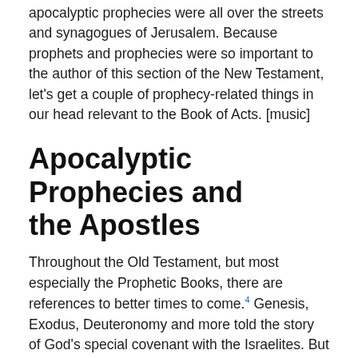apocalyptic prophecies were all over the streets and synagogues of Jerusalem. Because prophets and prophecies were so important to the author of this section of the New Testament, let's get a couple of prophecy-related things in our head relevant to the Book of Acts. [music]
Apocalyptic Prophecies and the Apostles
Throughout the Old Testament, but most especially the Prophetic Books, there are references to better times to come.4 Genesis, Exodus, Deuteronomy and more told the story of God's special covenant with the Israelites. But the history of the 600s, 500s, and 400s BCE, during which the bulk of the Old Testament was written, compelled each new generation of Jews to confront the grim realities of disenfranchisement, exile, and being on the receiving end of military defeats and colonial conquests. The nobility of Judah had returned from Babylon in